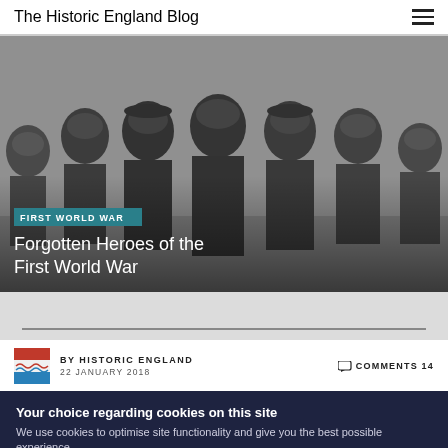The Historic England Blog
[Figure (photo): Grayscale historical photograph of a group of men, some wearing flat caps and heavy coats, appearing to be from the First World War era. Text overlay includes category tag 'FIRST WORLD WAR' and title 'Forgotten Heroes of the First World War'.]
Forgotten Heroes of the First World War
BY HISTORIC ENGLAND   22 JANUARY 2018
COMMENTS 14
Your choice regarding cookies on this site
We use cookies to optimise site functionality and give you the best possible experience.
Accept   I do not accept   Cookie Preferences   ×